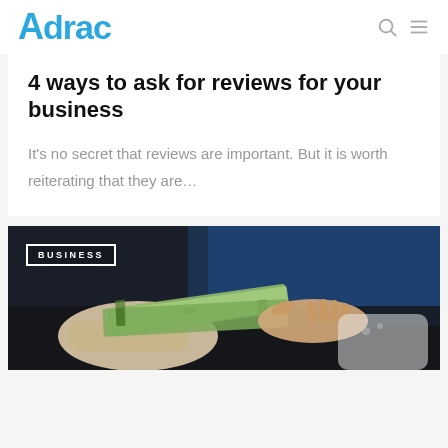Adrac
4 ways to ask for reviews for your business
It's no secret that reviews are important. But it is worth reiterating that they are…
[Figure (photo): Hands exchanging US dollar bills against a dark background, with a 'BUSINESS' tag label overlay in the top-left corner]